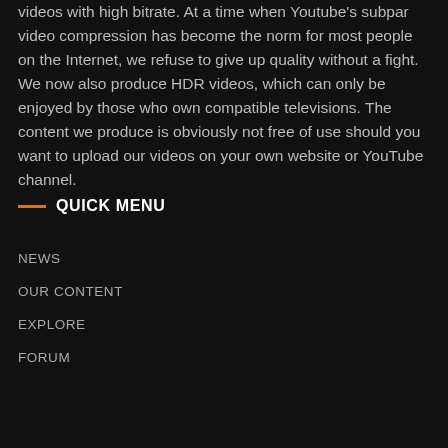videos with high bitrate. At a time when Youtube's subpar video compression has become the norm for most people on the Internet, we refuse to give up quality without a fight. We now also produce HDR videos, which can only be enjoyed by those who own compatible televisions. The content we produce is obviously not free of use should you want to upload our videos on your own website or YouTube channel.
QUICK MENU
NEWS
OUR CONTENT
EXPLORE
FORUM